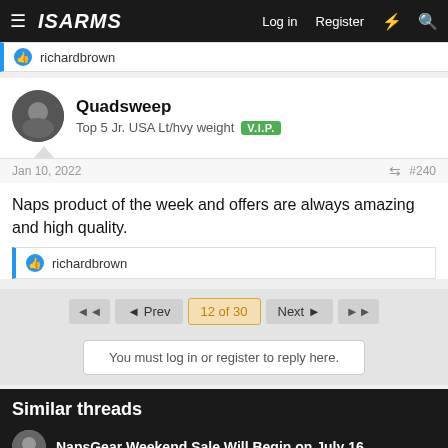ISARMS — Log in  Register
richardbrown
Quadsweep
Top 5 Jr. USA Lt/hvy weight  V.I.P.
Jan 10, 2022  #240
Naps product of the week and offers are always amazing and high quality.
richardbrown
◄◄  ◄ Prev  12 of 30  Next ►  ►►
You must log in or register to reply here.
Similar threads
NapsGear Weekend Sale Will Begin on July 16